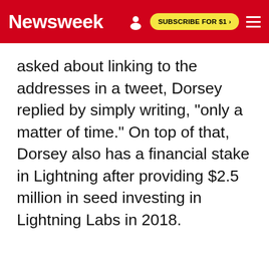Newsweek | SUBSCRIBE FOR $1 >
asked about linking to the addresses in a tweet, Dorsey replied by simply writing, "only a matter of time." On top of that, Dorsey also has a financial stake in Lightning after providing $2.5 million in seed investing in Lightning Labs in 2018.